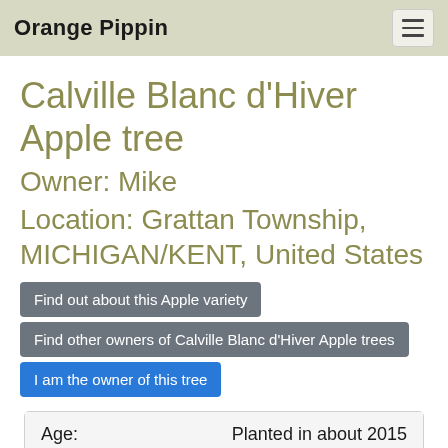Orange Pippin
Calville Blanc d'Hiver Apple tree
Owner: Mike
Location: Grattan Township, MICHIGAN/KENT, United States
Find out about this Apple variety
Find other owners of Calville Blanc d'Hiver Apple trees
I am the owner of this tree
| Age: |  |
| --- | --- |
| Age: | Planted in about 2015 |